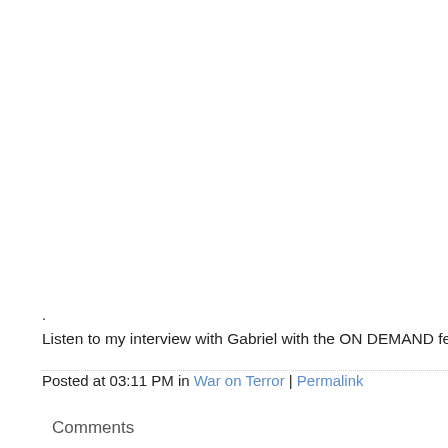.
Listen to my interview with Gabriel with the ON DEMAND feature to th
Posted at 03:11 PM in War on Terror | Permalink
Comments